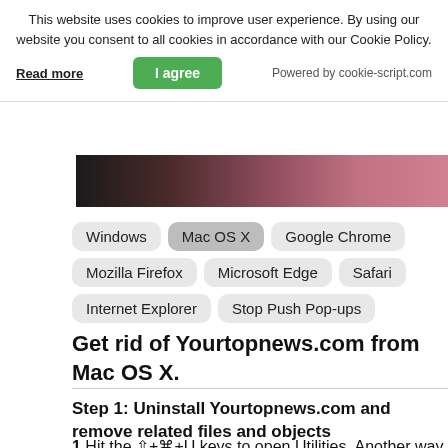This website uses cookies to improve user experience. By using our website you consent to all cookies in accordance with our Cookie Policy.
Read more | I agree | Powered by cookie-script.com
[Figure (other): Dark gradient color strip image fading from black to dark red/mauve]
Windows
Mac OS X
Google Chrome
Mozilla Firefox
Microsoft Edge
Safari
Internet Explorer
Stop Push Pop-ups
Get rid of Yourtopnews.com from Mac OS X.
Step 1: Uninstall Yourtopnews.com and remove related files and objects
1.Hit the ⇧+⌘+U keys to open Utilities. Another way